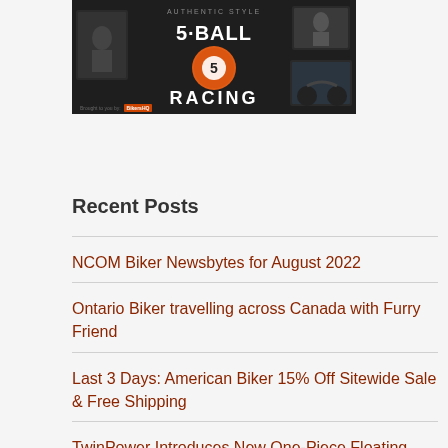[Figure (illustration): 5-Ball Racing banner with dark background, orange billiard ball with number 5, text reading 'Authentic Style 5-Ball Racing', and photos of riders and motorcycles on either side]
Recent Posts
NCOM Biker Newsbytes for August 2022
Ontario Biker travelling across Canada with Furry Friend
Last 3 Days: American Biker 15% Off Sitewide Sale & Free Shipping
TwinPower Introduces New One-Piece Floating Rotor